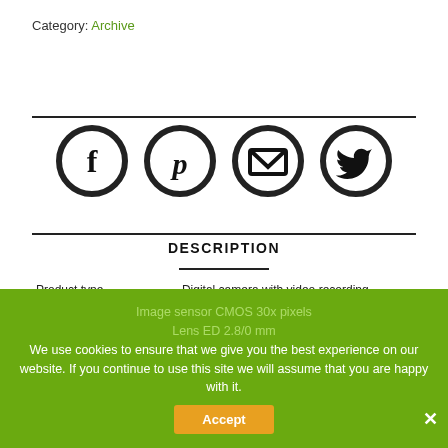Category: Archive
[Figure (illustration): Four social media icon circles: Facebook (f), Pinterest (p), Email (envelope), Twitter (bird)]
DESCRIPTION
| Product type | Digital camera with video recording function |
| Image sensor | CMOS 30x pixels |
| Lens | ED 2.8/0 mm |
| Display | 1.5" TFT 180 degree flip screen |
| Video resolution | VGA: 640x480 pixels / 30fps
QVGA: 320x240 pixels / 30fps |
| Still image | 640x480 pixels |
We use cookies to ensure that we give you the best experience on our website. If you continue to use this site we will assume that you are happy with it.